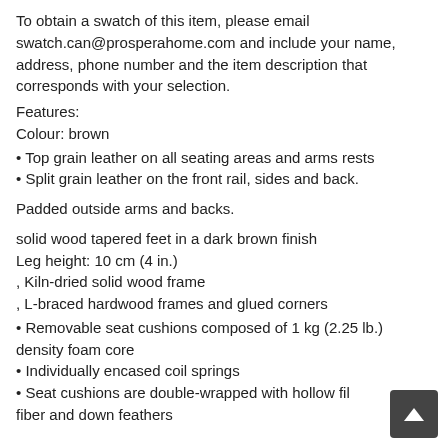To obtain a swatch of this item, please email swatch.can@prosperahome.com and include your name, address, phone number and the item description that corresponds with your selection.
Features:
Colour: brown
Top grain leather on all seating areas and arms rests
Split grain leather on the front rail, sides and back.
Padded outside arms and backs.
solid wood tapered feet in a dark brown finish
Leg height: 10 cm (4 in.)
, Kiln-dried solid wood frame
, L-braced hardwood frames and glued corners
Removable seat cushions composed of 1 kg (2.25 lb.) density foam core
Individually encased coil springs
Seat cushions are double-wrapped with hollow fill fiber and down feathers